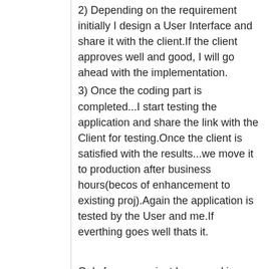2) Depending on the requirement initially I design a User Interface and share it with the client.If the client approves well and good, I will go ahead with the implementation.
3) Once the coding part is completed...I start testing the application and share the link with the Client for testing.Once the client is satisfied with the results...we move it to production after business hours(becos of enhancement to existing proj).Again the application is tested by the User and me.If everthing goes well thats it.
Only for one project I was working with another team member..becos she has to schedule a job using SSIS which i am not aware of. So it is a team of two for this